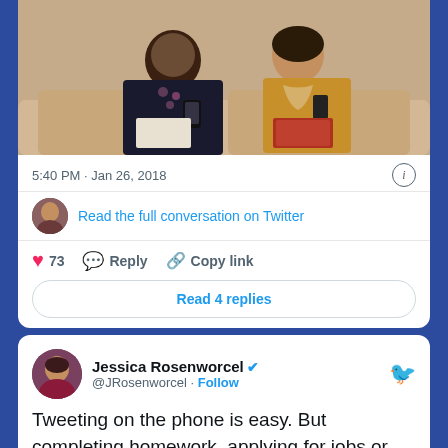[Figure (photo): Two women sitting on a couch looking at phones and papers]
5:40 PM · Jan 26, 2018
Read the full conversation on Twitter
73  Reply  Copy link
Read 4 replies
Jessica Rosenworcel @JRosenworcel · Follow
Tweeting on the phone is easy. But completing homework, applying for jobs or scholarships is not. Yet too